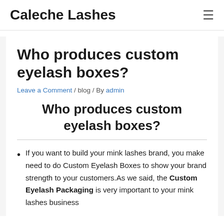Caleche Lashes
Who produces custom eyelash boxes?
Leave a Comment / blog / By admin
Who produces custom eyelash boxes?
If you want to build your mink lashes brand, you make need to do Custom Eyelash Boxes to show your brand strength to your customers.As we said, the Custom Eyelash Packaging is very important to your mink lashes business